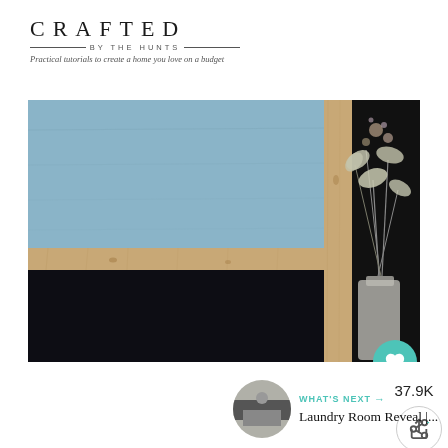CRAFTED BY THE HUNTS — Practical tutorials to create a home you love on a budget
[Figure (photo): Close-up interior photo showing a blue-painted barn door with wood frame trim, dark/black wall, and a glass vase with dried flowers and eucalyptus on the right side.]
37.9K
WHAT'S NEXT → Laundry Room Reveal |...